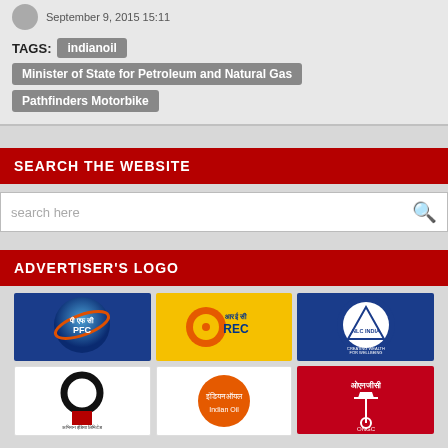September 9, 2015 15:11
TAGS: indianoil | Minister of State for Petroleum and Natural Gas | Pathfinders Motorbike
SEARCH THE WEBSITE
search here
ADVERTISER'S LOGO
[Figure (logo): PFC (Power Finance Corporation) logo - blue globe with orange orbit and Hindi text]
[Figure (logo): REC logo - orange/yellow sun on yellow background with Hindi text and REC text]
[Figure (logo): NLC India logo - circular emblem with triangle, blue border, Creating Wealth for Wellbeing]
[Figure (logo): EIL (Engineers India Limited) logo - black ring/donut shape with red square below]
[Figure (logo): Indian Oil logo - orange circle with Hindi text]
[Figure (logo): ONGC logo - red background with Hindi text and tower symbol]